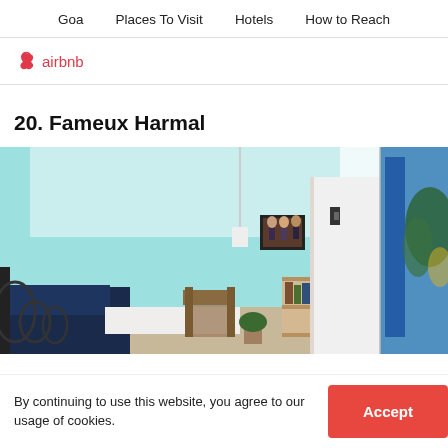Goa   Places To Visit   Hotels   How to Reach
[Figure (logo): Airbnb logo with loop icon and wordmark in red]
20. Fameux Harmal
[Figure (photo): Interior of a room with blue-painted walls, a bed with dark navy bedding, a wooden chair, a bookshelf, and a small framed artwork on the wall. A partial second image on the right shows an outdoor area with blue curtains and tropical plants.]
By continuing to use this website, you agree to our usage of cookies.